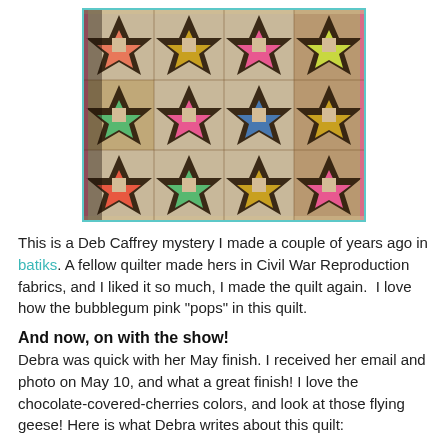[Figure (photo): A colorful patchwork quilt with repeating star/pinwheel blocks made in batik fabrics with pinks, greens, yellows, and dark brown/black pieces, displayed on a wall.]
This is a Deb Caffrey mystery I made a couple of years ago in batiks. A fellow quilter made hers in Civil War Reproduction fabrics, and I liked it so much, I made the quilt again.  I love how the bubblegum pink "pops" in this quilt.
And now, on with the show!
Debra was quick with her May finish. I received her email and photo on May 10, and what a great finish! I love the chocolate-covered-cherries colors, and look at those flying geese! Here is what Debra writes about this quilt: